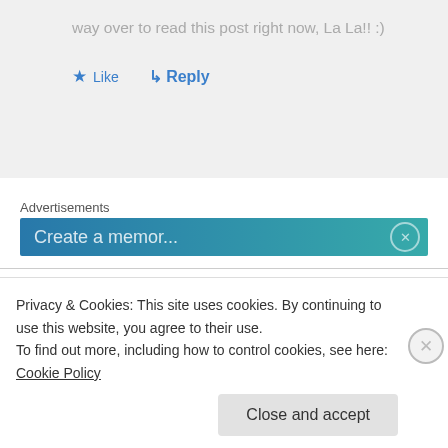way over to read this post right now, La La!! :)
★ Like  ↳ Reply
Advertisements
[Figure (screenshot): Blue-teal gradient advertisement banner with partial text visible]
gavmomof2 on January 16, 2013 at 8:22 pm
Loved your post about Presto & Blue Bella. Just...
Privacy & Cookies: This site uses cookies. By continuing to use this website, you agree to their use.
To find out more, including how to control cookies, see here: Cookie Policy
Close and accept